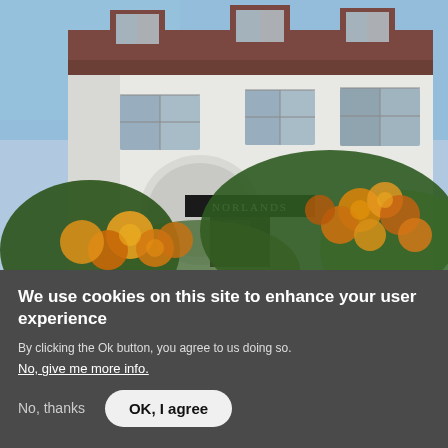[Figure (photo): Photograph of a white multi-storey building called 'Norlands' with a dark roof and dormer windows, with orange and yellow roses in bloom in the foreground and a blue sky in the background.]
We use cookies on this site to enhance your user experience
By clicking the Ok button, you agree to us doing so.
No, give me more info.
No, thanks
OK, I agree